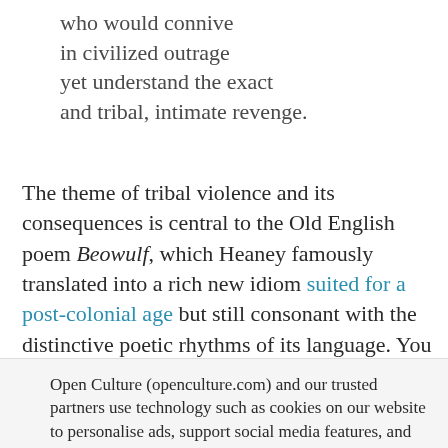who would connive
in civilized outrage
yet understand the exact
and tribal, intimate revenge.
The theme of tribal violence and its consequences is central to the Old English poem Beowulf, which Heaney famously translated into a rich new idiom suited for a post-colonial age but still consonant with the distinctive poetic rhythms of its language. You can
Open Culture (openculture.com) and our trusted partners use technology such as cookies on our website to personalise ads, support social media features, and analyze our traffic. Please click below to consent to the use of this technology while browsing our site.
Cookie settings  ACCEPT